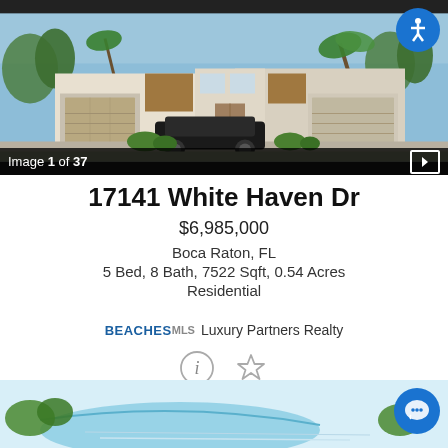[Figure (photo): Modern luxury two-story house exterior with two garages, palm trees, parked black SUV in driveway. Image 1 of 37.]
17141 White Haven Dr
$6,985,000
Boca Raton, FL
5 Bed, 8 Bath, 7522 Sqft, 0.54 Acres
Residential
BEACHES MLS  Luxury Partners Realty
[Figure (photo): Partial view of property exterior or pool area at bottom of page]